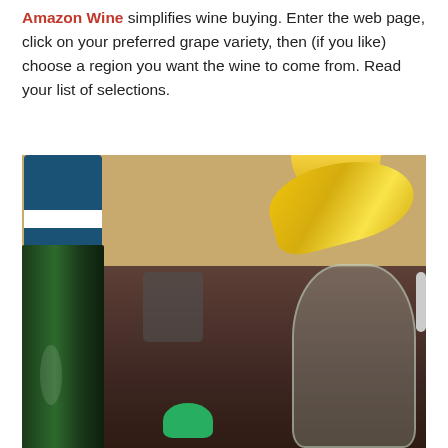Amazon Wine simplifies wine buying. Enter the web page, click on your preferred grape variety, then (if you like) choose a region you want the wine to come from. Read your list of selections.
[Figure (photo): Close-up photo of a dark green wine bottle with a blue foil top and white stripe, next to a wine glass, with bananas in a yellow bowl and other kitchen items on a wooden shelf in the background.]